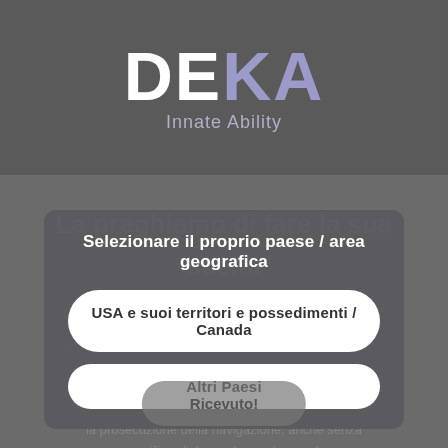[Figure (logo): DEKA Innate Ability logo — DEKA in large bold text with 'DE' in white and 'KA' in purple/lavender, 'Innate Ability' tagline below in lighter purple-grey]
La preghiamo di fare la sua scelta
Selezionare il proprio paese / area geografica
USA e suoi territori e possedimenti / Canada
Altri Paesi
(FI), via Baldanzese n. 17, titolare del trattamento dei dati ac... che questo sito non utilizza cookie di profilazione. Per ulteriori informazioni o per negare il consenso all'... l'informativa... la prosecuzione della navigazione, anche senza specifico click su... la prestazone del consenso all'uso dei cookie che dal Titolare viene fatto. Leggi di più
Ricevuto!